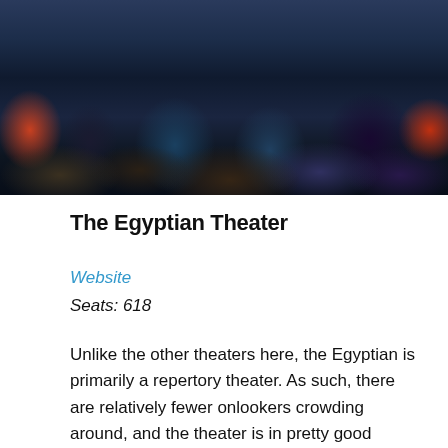[Figure (photo): A large crowd of people gathered outside along a street, viewed from behind, with buildings visible on both sides and evening sky above.]
The Egyptian Theater
Website
Seats: 618
Unlike the other theaters here, the Egyptian is primarily a repertory theater. As such, there are relatively fewer onlookers crowding around, and the theater is in pretty good shape. Also, the staff is a little more used to rep crowds and their,